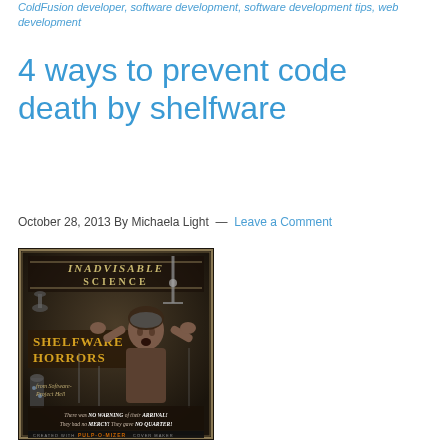ColdFusion developer, software development, software development tips, web development
4 ways to prevent code death by shelfware
October 28, 2013 By Michaela Light — Leave a Comment
[Figure (illustration): Pulp fiction style mock book cover titled 'Inadvisable Science: Shelfware Horrors from Software-Project Hell'. Features a distressed woman in old sci-fi horror style imagery. Bottom text reads 'There was NO WARNING of their ARRIVAL! They had no MERCY! They gave NO QUARTER!' Created with PULP-O-MIZER COVER MAKER.]